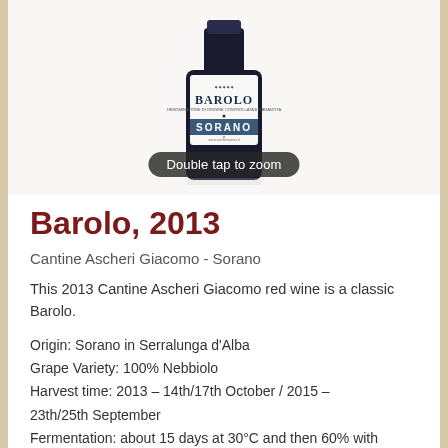[Figure (photo): A bottle of Barolo Sorano wine from Cantine Ascheri Giacomo. The label shows 'BAROLO' in large text and 'SORANO' on a dark blue band. A 'Double tap to zoom' tooltip overlay appears on the bottle image.]
Barolo, 2013
Cantine Ascheri Giacomo - Sorano
This 2013 Cantine Ascheri Giacomo red wine is a classic Barolo.
Origin: Sorano in Serralunga d'Alba
Grape Variety: 100% Nebbiolo
Harvest time: 2013 – 14th/17th October / 2015 – 23th/25th September
Fermentation: about 15 days at 30°C and then 60% with